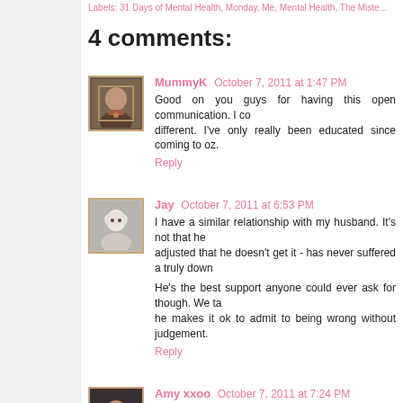Labels: 31 Days of Mental Health, Monday, Me, Mental Health, The Mister
4 comments:
MummyK October 7, 2011 at 1:47 PM
Good on you guys for having this open communication. I co... different. I've only really been educated since coming to oz.
Reply
Jay October 7, 2011 at 6:53 PM
I have a similar relationship with my husband. It's not that he... adjusted that he doesn't get it - has never suffered a truly down...
He's the best support anyone could ever ask for though. We ta... he makes it ok to admit to being wrong without judgement.
Reply
Amy xxoo October 7, 2011 at 7:24 PM
Your mister sounds like my dad - which might sound a bit weir... My dad has always been my sounding board and although he...